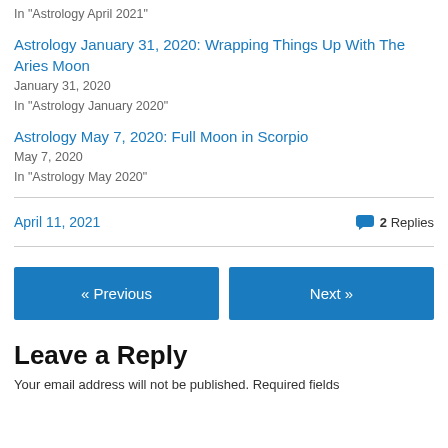In "Astrology April 2021"
Astrology January 31, 2020: Wrapping Things Up With The Aries Moon
January 31, 2020
In "Astrology January 2020"
Astrology May 7, 2020: Full Moon in Scorpio
May 7, 2020
In "Astrology May 2020"
April 11, 2021    2 Replies
« Previous
Next »
Leave a Reply
Your email address will not be published. Required fields